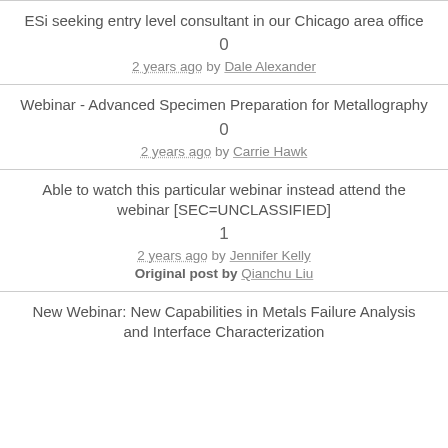ESi seeking entry level consultant in our Chicago area office
0
2 years ago by Dale Alexander
Webinar - Advanced Specimen Preparation for Metallography
0
2 years ago by Carrie Hawk
Able to watch this particular webinar instead attend the webinar [SEC=UNCLASSIFIED]
1
2 years ago by Jennifer Kelly
Original post by Qianchu Liu
New Webinar: New Capabilities in Metals Failure Analysis and Interface Characterization